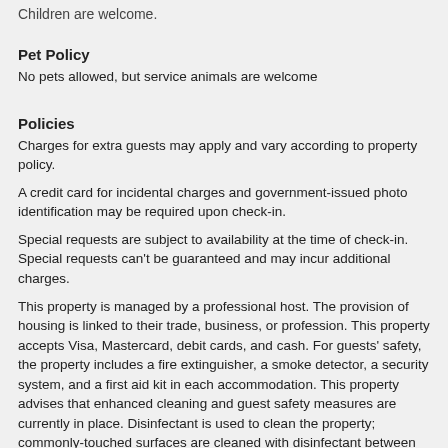Children are welcome.
Pet Policy
No pets allowed, but service animals are welcome
Policies
Charges for extra guests may apply and vary according to property policy.
A credit card for incidental charges and government-issued photo identification may be required upon check-in.
Special requests are subject to availability at the time of check-in. Special requests can't be guaranteed and may incur additional charges.
This property is managed by a professional host. The provision of housing is linked to their trade, business, or profession. This property accepts Visa, Mastercard, debit cards, and cash. For guests' safety, the property includes a fire extinguisher, a smoke detector, a security system, and a first aid kit in each accommodation. This property advises that enhanced cleaning and guest safety measures are currently in place. Disinfectant is used to clean the property; commonly-touched surfaces are cleaned with disinfectant between stays; bed sheets and towels are laundered at a temperature of at least 60°C/140°F. This property affirms that it adheres to the cleaning and disinfection practices of COVID-19 Guidelines (CDC).